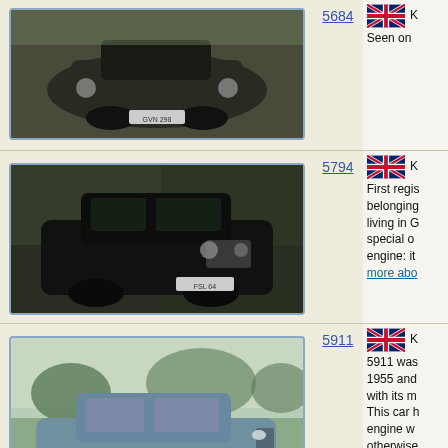[Figure (photo): Classic black Wolseley/MG car, front three-quarter view, in a garden setting. Row for chassis 5684.]
5684
[Figure (photo): UK flag icon]
Seen on
[Figure (photo): Dark black classic British saloon car (MG or Wolseley) parked on grass with registration FSL 64. Row for chassis 5794.]
5794
[Figure (photo): UK flag icon]
First regis belonging living in G special o engine: it more abo
[Figure (photo): Blue-grey classic British saloon car (Wolseley or MG) on a driveway with green lawn behind. Row for chassis 5911.]
5911
[Figure (photo): UK flag icon]
5911 was 1955 and with its m This car h engine w otherwise plate UHI Stephen
[Figure (photo): Partially visible car interior/engine photo at bottom, row for another chassis number.]
[Figure (photo): UK flag icon at bottom right]